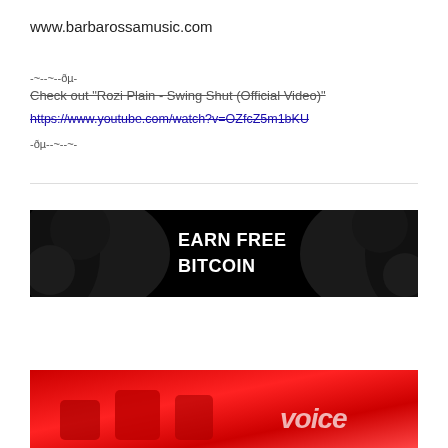www.barbarossamusic.com
-~--~--ðµ-
Check out "Rozi Plain - Swing Shut (Official Video)"
https://www.youtube.com/watch?v=OZfcZ5m1bKU
-ðµ--~--~-
[Figure (infographic): Black banner advertisement with bold white text reading 'EARN FREE BITCOIN' with decorative dark textured background on left and right sides.]
[Figure (photo): Partial view of a red-themed image showing what appears to be The Voice TV show branding with red chairs and the word 'voice' visible.]